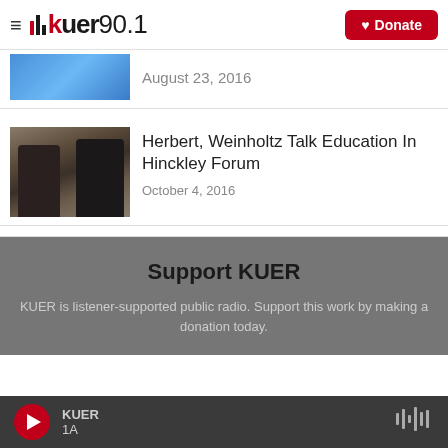KUER 90.1 — Donate
August 23, 2016
Herbert, Weinholtz Talk Education In Hinckley Forum
October 4, 2016
Support KUER
KUER is listener-supported public radio. Support this work by making a donation today.
KUER 1A